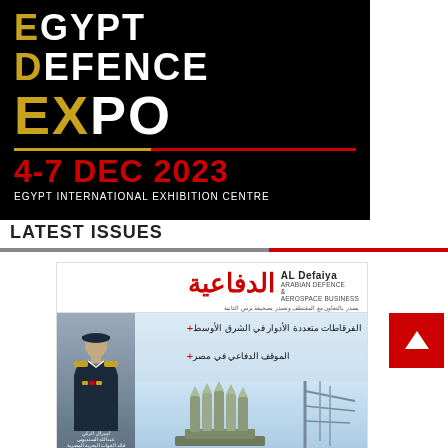[Figure (logo): Egypt Defence Expo (EDEX) banner logo on black background with date 4-7 Dec 2023 and Egypt International Exhibition Centre]
LATEST ISSUES
[Figure (photo): AL Defaiya Arabian Defence & Aerospace Business magazine cover featuring Arabic text, officer in naval uniform, and missile systems]